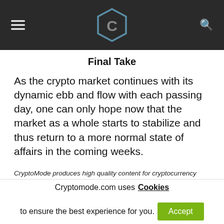CryptoMode logo header with hamburger menu and search icon
Final Take
As the crypto market continues with its dynamic ebb and flow with each passing day, one can only hope now that the market as a whole starts to stabilize and thus return to a more normal state of affairs in the coming weeks.
CryptoMode produces high quality content for cryptocurrency companies. We have provided brand exposure for dozens of companies to date, and you can be one of them. All of our clients
Cryptomode.com uses Cookies to ensure the best experience for you. Accept